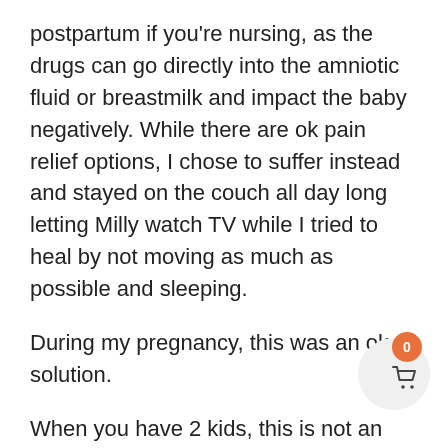postpartum if you're nursing, as the drugs can go directly into the amniotic fluid or breastmilk and impact the baby negatively. While there are ok pain relief options, I chose to suffer instead and stayed on the couch all day long letting Milly watch TV while I tried to heal by not moving as much as possible and sleeping.
During my pregnancy, this was an ok solution.
When you have 2 kids, this is not an option. Especially when one of them is nursing every hour on the hour and the other is a high-octane, attention-needy 3-year old.
Recently, we fell victim to the pinkeye plague in